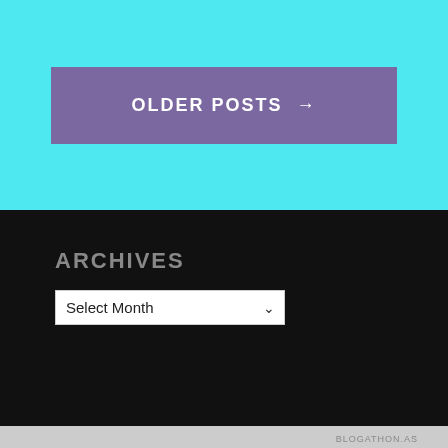[Figure (screenshot): Cyan/turquoise background section with a purple button labeled OLDER POSTS →]
ARCHIVES
[Figure (screenshot): Select Month dropdown widget on dark background]
Privacy & Cookies: This site uses cookies. By continuing to use this website, you agree to their use.
To find out more, including how to control cookies, see here: Cookie Policy
Close and accept